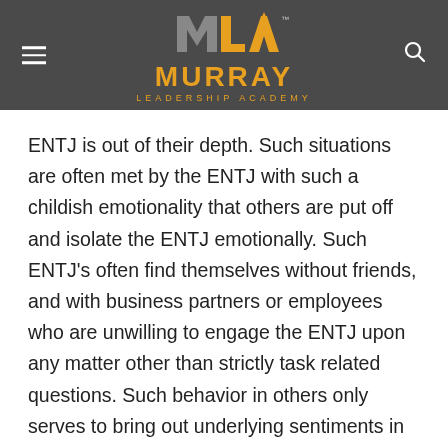[Figure (logo): Murray Leadership Academy logo with stylized MLA monogram in gray and orange, TM mark, hamburger menu icon on left, search icon on right, on dark gray background]
ENTJ is out of their depth. Such situations are often met by the ENTJ with such a childish emotionality that others are put off and isolate the ENTJ emotionally. Such ENTJ's often find themselves without friends, and with business partners or employees who are unwilling to engage the ENTJ upon any matter other than strictly task related questions. Such behavior in others only serves to bring out underlying sentiments in the ENTJ which, via their badly adapted intuitive function, speak to them of plots, nastiness and covert obstructive behavior on the part of others. Suffice to say, such